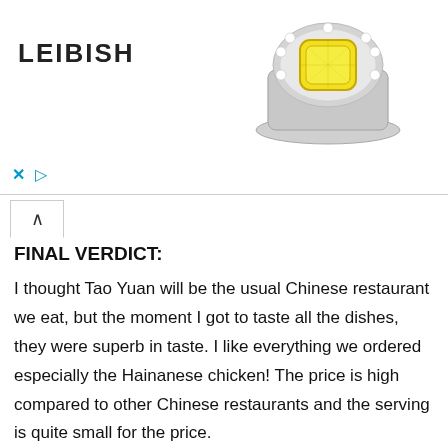[Figure (photo): Advertisement banner for LEIBISH jewelry brand showing a yellow diamond halo engagement ring. The LEIBISH brand name appears in bold black uppercase letters on the left. A diamond ring with a cushion-cut yellow diamond center stone surrounded by a halo of white diamonds and a split shank band is shown on the right. Blue X and play button controls appear at the bottom left of the ad.]
FINAL VERDICT:
I thought Tao Yuan will be the usual Chinese restaurant we eat, but the moment I got to taste all the dishes, they were superb in taste. I like everything we ordered especially the Hainanese chicken! The price is high compared to other Chinese restaurants and the serving is quite small for the price.
[yasr_multiset setid=0]
Have you tried Tao Yuan's Restaurant? Share your